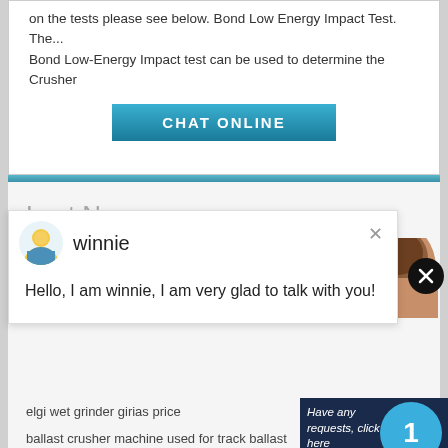on the tests please see below. Bond Low Energy Impact Test. The... Bond Low-Energy Impact test can be used to determine the Crusher
[Figure (screenshot): CHAT ONLINE button with teal gradient background]
Last News
[Figure (screenshot): Chat popup with avatar of winnie and message: Hello, I am winnie, I am very glad to talk with you!]
elgi wet grinder girias price
ballast crusher machine used for track ballast production
difference in jaw crusher amp vsi crusher
crusher plant in nizwa oman
high crushing ratio china stone jaw crusher
aplikasi di tentang
sustainable crushing pier san francisco ca